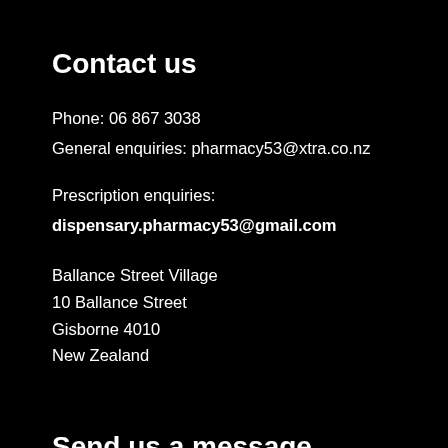Contact us
Phone: 06 867 3038
General enquiries: pharmacy53@xtra.co.nz
Prescription enquiries:
dispensary.pharmacy53@gmail.com
Ballance Street Village
10 Ballance Street
Gisborne 4010
New Zealand
Send us a message